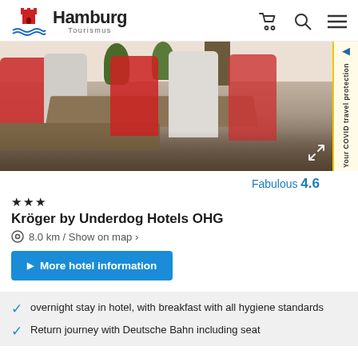Hamburg Tourismus
[Figure (photo): Hotel interior showing restaurant/dining area with red and white chairs around wooden tables, plants in background]
Fabulous 4.6
★★★ Kröger by Underdog Hotels OHG
8.0 km / Show on map ›
More hotel information
overnight stay in hotel, with breakfast with all hygiene standards
Return journey with Deutsche Bahn including seat